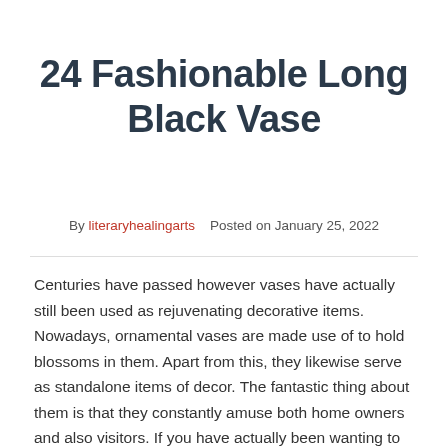24 Fashionable Long Black Vase
By literaryhealingarts   Posted on January 25, 2022
Centuries have passed however vases have actually still been used as rejuvenating decorative items. Nowadays, ornamental vases are made use of to hold blossoms in them. Apart from this, they likewise serve as standalone items of decor. The fantastic thing about them is that they constantly amuse both home owners and also visitors. If you have actually been wanting to use flower holders as decorative centerpieces for your office or home. We suggest that you see our 24 Fashionable Long Black Vase listed below right here! Each one of these house style Do It Yourself flower vase suggestions has a catchy uniqueness to it. The most effective part of everything is that they are actually not tough